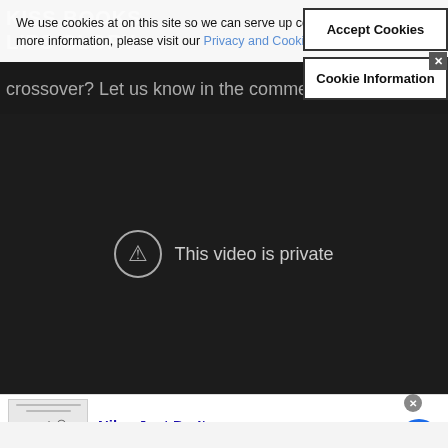[Figure (screenshot): Screenshot of a webpage with a cookie consent banner overlay. Behind the banner are partial large text headers in a dark background. A cookie notice states 'We use cookies at on this site so we can serve up content and advertising that's relevant to you. For more information, please visit our Privacy and Cookie Policy' with two buttons: 'Accept Cookies' and 'Cookie Information'. Below the banner is a dark video player showing 'This video is private'. At the bottom is a Nike advertisement: 'Nike. Just Do It - Inspiring the world's athletes, Nike delivers the deals - www.nike.com' with a blue circular arrow button.]